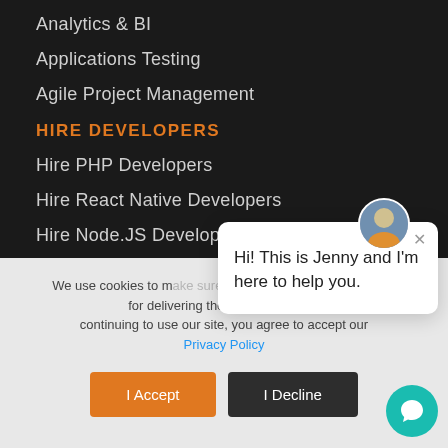Analytics & BI
Applications Testing
Agile Project Management
HIRE DEVELOPERS
Hire PHP Developers
Hire React Native Developers
Hire Node.JS Developers
Hire ReactJS Developers
Hire AngularJS Developers
Hire Laravel Developers
We use cookies to make sure you have the best experience for delivering the best service. By continuing to use our site, you agree to accept our Privacy Policy
[Figure (screenshot): Cookie consent banner with I Accept (orange) and I Decline (dark) buttons]
[Figure (screenshot): Chat bubble popup from Jenny: Hi! This is Jenny and I'm here to help you.]
[Figure (screenshot): Teal chat button icon (bottom right)]